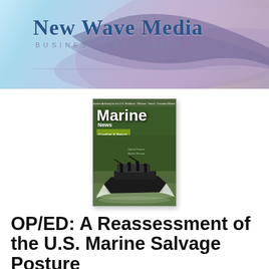[Figure (logo): New Wave Media Business Navigator banner logo with wave graphic on light blue/purple gradient background]
[Figure (photo): Marine News magazine cover showing combat patrol craft with armed personnel on water, with text 'Marine News' and 'Combat & Patrol Craft Annual']
OP/ED: A Reassessment of the U.S. Marine Salvage Posture
By Jim Elliott...